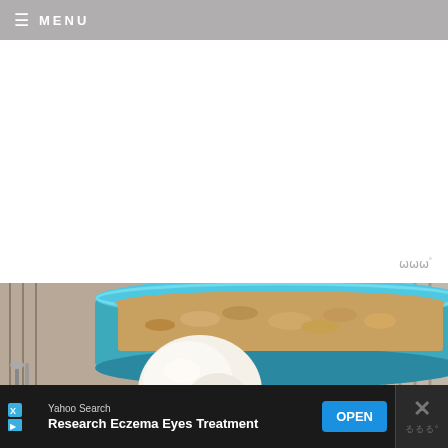≡ MENU
[Figure (photo): Food photo showing a blue baking dish with a crumble dessert in the background and a scoop of vanilla ice cream in the foreground on a plate]
[Figure (other): Advertisement banner: Yahoo Search - Research Eczema Eyes Treatment - OPEN button]
Yahoo Search
Research Eczema Eyes Treatment